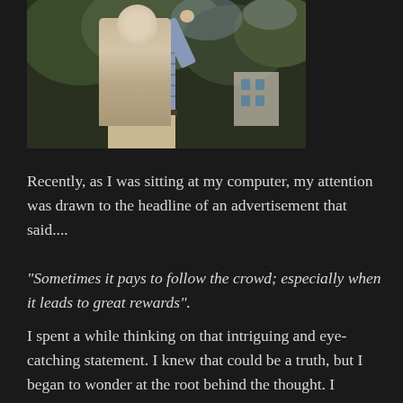[Figure (photo): Partial photograph of a man standing outdoors, showing his torso in a checkered shirt and khaki pants, with trees and a building visible in the background. Only the lower portion of the figure is visible, with the top of the image cropped.]
Recently, as I was sitting at my computer, my attention was drawn to the headline of an advertisement that said....
“Sometimes it pays to follow the crowd; especially when it leads to great rewards”.
I spent a while thinking on that intriguing and eye-catching statement. I knew that could be a truth, but I began to wonder at the root behind the thought. I thought about how a promise of something that can lead you into great rewards